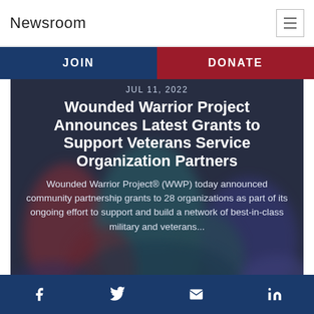Newsroom
JOIN
DONATE
[Figure (photo): Blurred crowd of people at an outdoor event, used as background for a news article card]
JUL 11, 2022
Wounded Warrior Project Announces Latest Grants to Support Veterans Service Organization Partners
Wounded Warrior Project® (WWP) today announced community partnership grants to 28 organizations as part of its ongoing effort to support and build a network of best-in-class military and veterans...
Social icons: Facebook, Twitter, Email, LinkedIn